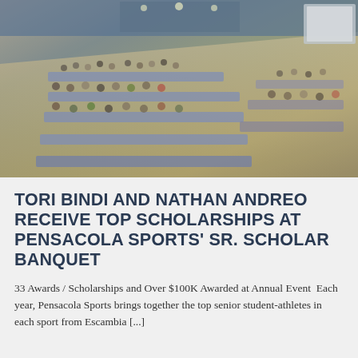[Figure (photo): Aerial view of a large indoor banquet hall filled with people seated at long tables covered with blue tablecloths, attending the Pensacola Sports Senior Scholar Banquet.]
TORI BINDI AND NATHAN ANDREO RECEIVE TOP SCHOLARSHIPS AT PENSACOLA SPORTS' SR. SCHOLAR BANQUET
33 Awards / Scholarships and Over $100K Awarded at Annual Event  Each year, Pensacola Sports brings together the top senior student-athletes in each sport from Escambia [...]